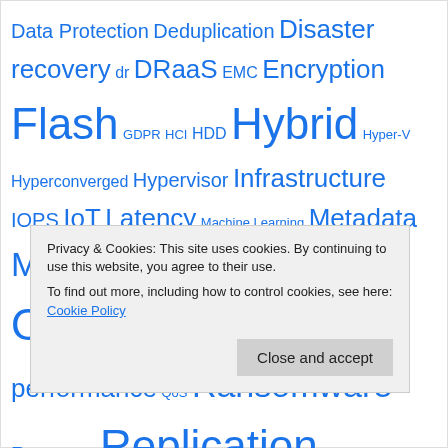[Figure (infographic): Tag cloud with IT/storage technology terms in varying font sizes and blue color, including: Data Protection, Deduplication, Disaster recovery, dr, DRaaS, EMC, Encryption, Flash, GDPR, HCI, HDD, Hybrid, Hyper-V, Hyperconverged, Hypervisor, Infrastructure, IOPS, IoT, Latency, Machine Learning, Metadata, Migration, ML, NAS, NFS, NVMe, Object Storage, PCIe, performance, QoS, Ransomware, Recovery, Replication, Retention, ROI, RPO, RTO, SaaS, SAN, SAS, Scale, Scale-Out, SDS, SLA, SMB, Snapshot, Snapshots, Software Defined, Software Defined Storage, Solid-state drive, SQL, SSD, Unstructured]
Privacy & Cookies: This site uses cookies. By continuing to use this website, you agree to their use.
To find out more, including how to control cookies, see here: Cookie Policy